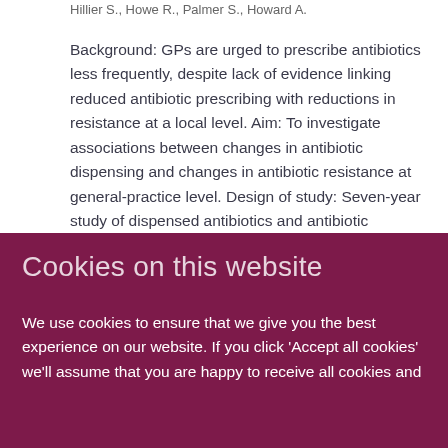Hillier S., Howe R., Palmer S., Howard A.
Background: GPs are urged to prescribe antibiotics less frequently, despite lack of evidence linking reduced antibiotic prescribing with reductions in resistance at a local level. Aim: To investigate associations between changes in antibiotic dispensing and changes in antibiotic resistance at general-practice level. Design of study: Seven-year study of dispensed antibiotics and antibiotic resistance in coliform isolates from urine samples routinely submitted from general practice. Setting: General practices in Wales. Method: Multilevel modelling of trends in resistance to ampicillin and trimethoprim, and changes in practice total antibiotic dispensing and ampicillin and trimethoprim dispensing.
Cookies on this website
We use cookies to ensure that we give you the best experience on our website. If you click 'Accept all cookies' we'll assume that you are happy to receive all cookies and